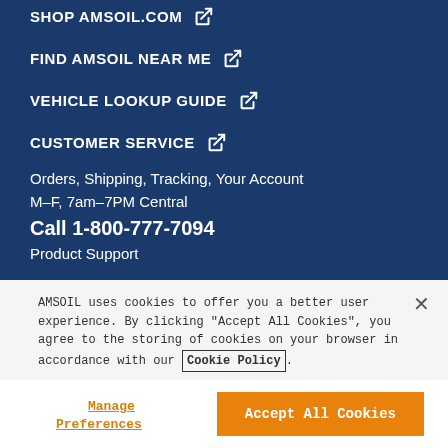SHOP AMSOIL.COM [external link]
FIND AMSOIL NEAR ME [external link]
VEHICLE LOOKUP GUIDE [external link]
CUSTOMER SERVICE [external link]
Orders, Shipping, Tracking, Your Account
M–F, 7am–7PM Central
Call 1-800-777-7094
Product Support
AMSOIL uses cookies to offer you a better user experience. By clicking "Accept All Cookies", you agree to the storing of cookies on your browser in accordance with our Cookie Policy.
Manage Preferences
Accept All Cookies